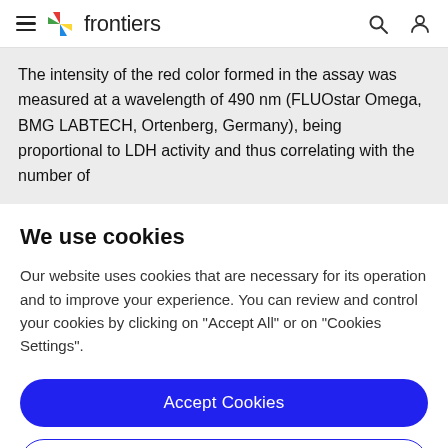frontiers
The intensity of the red color formed in the assay was measured at a wavelength of 490 nm (FLUOstar Omega, BMG LABTECH, Ortenberg, Germany), being proportional to LDH activity and thus correlating with the number of
We use cookies
Our website uses cookies that are necessary for its operation and to improve your experience. You can review and control your cookies by clicking on "Accept All" or on "Cookies Settings".
Accept Cookies
Cookies Settings